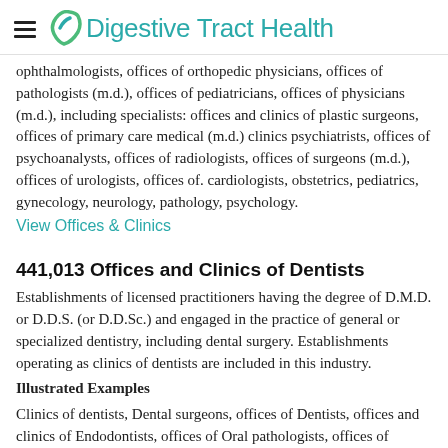Digestive Tract Health
ophthalmologists, offices of orthopedic physicians, offices of pathologists (m.d.), offices of pediatricians, offices of physicians (m.d.), including specialists: offices and clinics of plastic surgeons, offices of primary care medical (m.d.) clinics psychiatrists, offices of psychoanalysts, offices of radiologists, offices of surgeons (m.d.), offices of urologists, offices of. cardiologists, obstetrics, pediatrics, gynecology, neurology, pathology, psychology.
View Offices & Clinics
441,013 Offices and Clinics of Dentists
Establishments of licensed practitioners having the degree of D.M.D. or D.D.S. (or D.D.Sc.) and engaged in the practice of general or specialized dentistry, including dental surgery. Establishments operating as clinics of dentists are included in this industry.
Illustrated Examples
Clinics of dentists, Dental surgeons, offices of Dentists, offices and clinics of Endodontists, offices of Oral pathologists, offices of Orthodontists, offices of Pathologists, oral: offices of